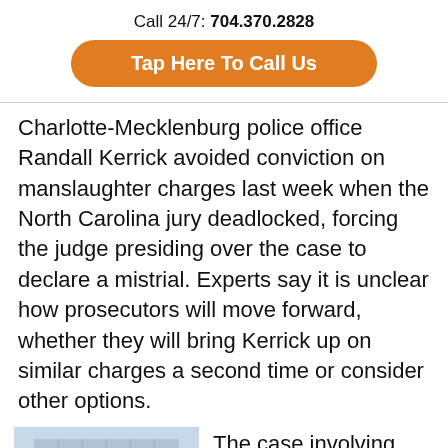Call 24/7: 704.370.2828
[Figure (other): Orange rounded button with text 'Tap Here To Call Us']
Charlotte-Mecklenburg police office Randall Kerrick avoided conviction on manslaughter charges last week when the North Carolina jury deadlocked, forcing the judge presiding over the case to declare a mistrial. Experts say it is unclear how prosecutors will move forward, whether they will bring Kerrick up on similar charges a second time or consider other options.
[Figure (photo): Photo of a multi-story office/government building with glass windows, photographed from ground level.]
The case involving Kerrick dates back to